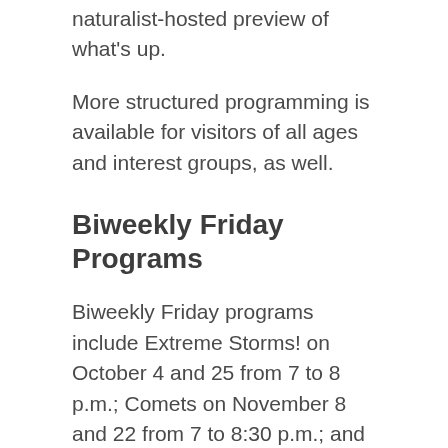naturalist-hosted preview of what's up.
More structured programming is available for visitors of all ages and interest groups, as well.
Biweekly Friday Programs
Biweekly Friday programs include Extreme Storms! on October 4 and 25 from 7 to 8 p.m.; Comets on November 8 and 22 from 7 to 8:30 p.m.; and Winter Sky Stories on December 13 and 27 from 7 to 8:30 p.m.
Nature in Music
Have you ever practiced “guided listening”? At an adult-oriented program called Nature in Music: A